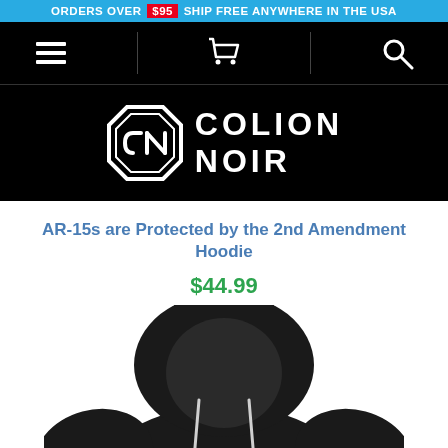ORDERS OVER $95 SHIP FREE ANYWHERE IN THE USA
[Figure (screenshot): Navigation bar with hamburger menu icon, shopping cart icon, and search icon on black background]
[Figure (logo): Colion Noir logo: octagonal CN emblem and text COLION NOIR on black background]
AR-15s are Protected by the 2nd Amendment Hoodie
$44.99
[Figure (photo): Black hoodie with white 2nd Amendment text print on the front chest area]